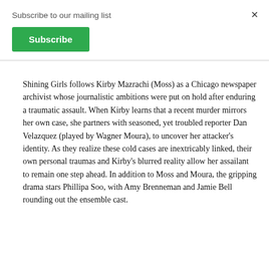Subscribe to our mailing list
Subscribe
×
Shining Girls follows Kirby Mazrachi (Moss) as a Chicago newspaper archivist whose journalistic ambitions were put on hold after enduring a traumatic assault. When Kirby learns that a recent murder mirrors her own case, she partners with seasoned, yet troubled reporter Dan Velazquez (played by Wagner Moura), to uncover her attacker's identity. As they realize these cold cases are inextricably linked, their own personal traumas and Kirby's blurred reality allow her assailant to remain one step ahead. In addition to Moss and Moura, the gripping drama stars Phillipa Soo, with Amy Brenneman and Jamie Bell rounding out the ensemble cast.